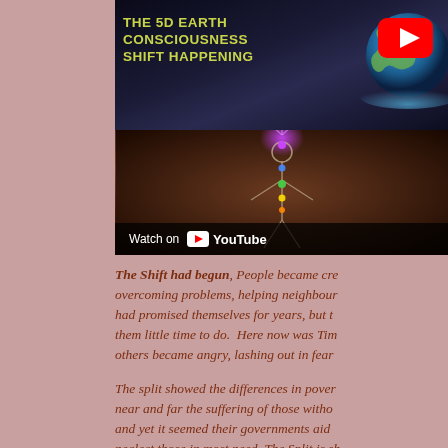[Figure (screenshot): YouTube video thumbnail showing '5D EARTH CONSCIOUSNESS SHIFT HAPPENING' with a chakra meditation figure, YouTube play button, and Earth in space background. Includes 'Watch on YouTube' bar at the bottom.]
The Shift had begun, People became cre overcoming problems, helping neighbour had promised themselves for years, but t them little time to do.  Here now was Tim others became angry, lashing out in fear
The split showed the differences in pover near and far the suffering of those witho and yet it seemed their governments aid neglect those in most need. The Split is sh wanting to control the masses.  The Spilt were instigating the divisions…  The Split hearts were in fear, and whose hearts we